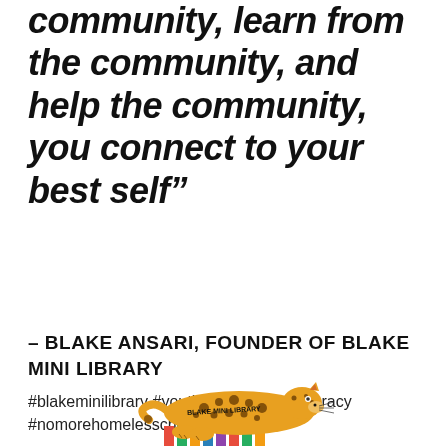community, learn from the community, and help the community, you connect to your best self”
– BLAKE ANSARI, FOUNDER OF BLAKE MINI LIBRARY
#blakeminilibrary #youthphilanthropy #literacy #nomorehomelesschildren
[Figure (logo): Blake Mini Library logo showing a cheetah lying down over colorful books with text 'BLAKE MINI LIBRARY' on its body]